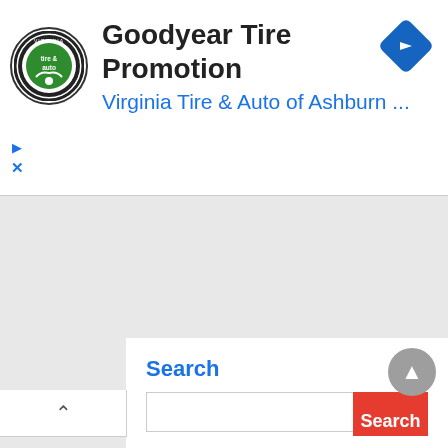[Figure (screenshot): Advertisement banner for Goodyear Tire Promotion by Virginia Tire & Auto of Ashburn, with logo, title, subtitle, navigation icon, and ad controls (play and close buttons).]
[Figure (screenshot): Google Maps-style map area shown in gray, with a collapse tab (upward chevron) at top-left, a scroll-to-top button at bottom-right, and a Search panel at the bottom.]
Search
Search